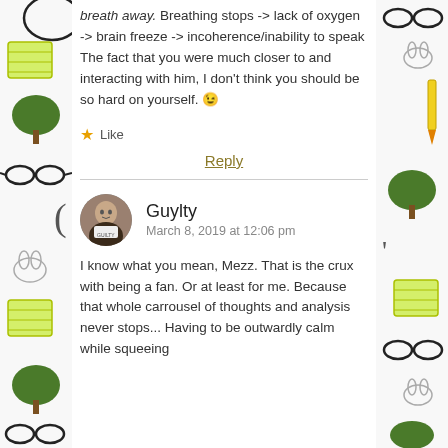breath away. Breathing stops -> lack of oxygen -> brain freeze -> incoherence/inability to speak The fact that you were much closer to and interacting with him, I don't think you should be so hard on yourself. 😉
★ Like
Reply
Guylty
March 8, 2019 at 12:06 pm
I know what you mean, Mezz. That is the crux with being a fan. Or at least for me. Because that whole carrousel of thoughts and analysis never stops... Having to be outwardly calm while squeeing